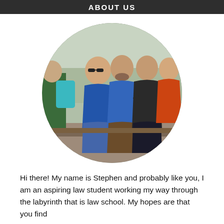ABOUT US
[Figure (photo): Group of five young adults sitting outdoors in a wooded area, displayed in a circular crop. A woman in a blue shirt wearing sunglasses is prominent in the center-left, next to a man in a blue t-shirt, another man in a dark shirt with arms crossed, and a woman in an orange shirt on the right. Partially visible person on the far left in a green shirt with a teal backpack.]
Hi there! My name is Stephen and probably like you, I am an aspiring law student working my way through the labyrinth that is law school. My hopes are that you find